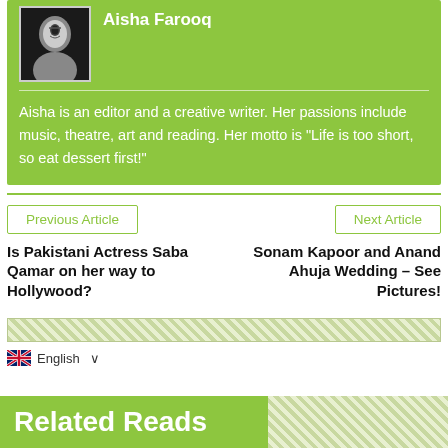[Figure (photo): Black and white headshot photo of Aisha Farooq]
Aisha Farooq
Aisha is an editor and a creative writer. Her passions include music, theatre, art and reading. Her motto is "Life is too short, so eat dessert first!"
Previous Article
Next Article
Is Pakistani Actress Saba Qamar on her way to Hollywood?
Sonam Kapoor and Anand Ahuja Wedding – See Pictures!
English
Related Reads